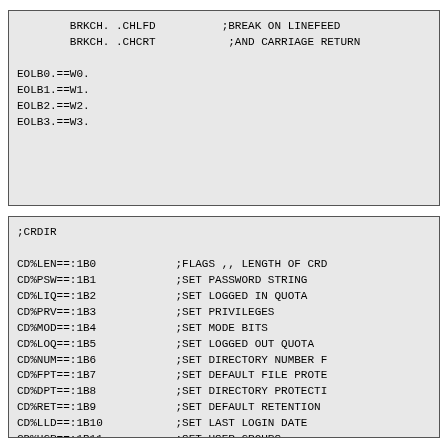BRKCH. .CHLFD
        BRKCH. .CHCRT

EOLB0.==W0.
EOLB1.==W1.
EOLB2.==W2.
EOLB3.==W3.
;CRDIR

CD%LEN==:1B0
CD%PSW==:1B1
CD%LIQ==:1B2
CD%PRV==:1B3
CD%MOD==:1B4
CD%LOQ==:1B5
CD%NUM==:1B6
CD%FPT==:1B7
CD%DPT==:1B8
CD%RET==:1B9
CD%LLD==:1B10
CD%UGP==:1B11
CD%DGP==:1B12
CD%SDQ==:1B13
CD%CUG==:1B14
CD%DAC==:1B15
CD%DEL==:1B17
CD%APB==:777777B35